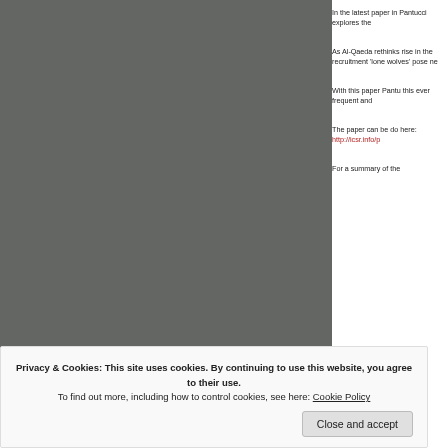[Figure (photo): Dark grey torn or rough-edged vertical panel, appears to be a photo background]
In the latest paper in Pantucci explores the
As Al-Qaeda rethinks rise in the recruitment 'lone wolves' pose ne
With this paper Pantu this ever frequent and
The paper can be do here: http://icsr.info/p
For a summary of the
Privacy & Cookies: This site uses cookies. By continuing to use this website, you agree to their use.
To find out more, including how to control cookies, see here: Cookie Policy
Close and accept